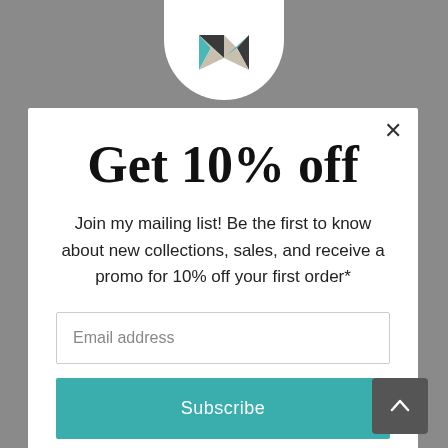[Figure (logo): Circular logo with geometric M letter in teal and grey tones, partially visible at top center]
Get 10% off
Join my mailing list! Be the first to know about new collections, sales, and receive a promo for 10% off your first order*
Email address
Subscribe
[Figure (infographic): Social media icons: Instagram, Facebook, Pinterest in teal circle outlines]
[Figure (other): Dark grey back-to-top button with upward chevron arrow]